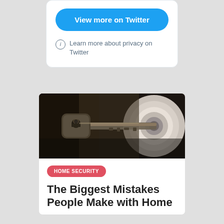[Figure (screenshot): Twitter embed card with 'View more on Twitter' blue button and privacy info link below it]
[Figure (photo): Close-up photograph of a key inserted into a door lock/keyhole]
HOME SECURITY
The Biggest Mistakes People Make with Home